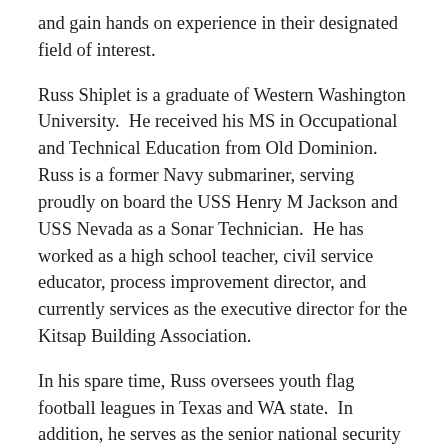and gain hands on experience in their designated field of interest.
Russ Shiplet is a graduate of Western Washington University.  He received his MS in Occupational and Technical Education from Old Dominion.  Russ is a former Navy submariner, serving proudly on board the USS Henry M Jackson and USS Nevada as a Sonar Technician.  He has worked as a high school teacher, civil service educator, process improvement director, and currently services as the executive director for the Kitsap Building Association.
In his spare time, Russ oversees youth flag football leagues in Texas and WA state.  In addition, he serves as the senior national security director for American National Combines, providing professional football combines services to the NFL, Canadian Football League, Arena Football League, and the newly formed Alliance of American Football